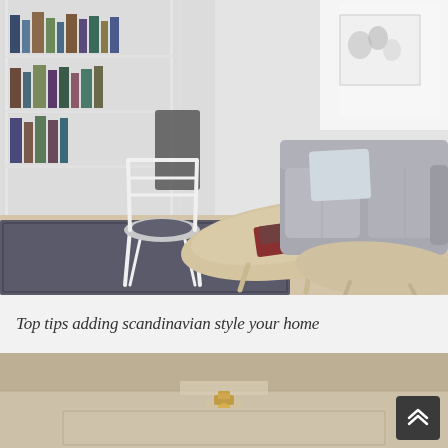[Figure (photo): Scandinavian-style living room with white shelving unit filled with books on the left, a white wooden chair with a dark cushion on a dark gray area rug, a light wood coffee table in the center, and a gray sectional sofa on the right. Light hardwood floors, a potted plant, and a framed artwork on the wall.]
Top tips adding scandinavian style your home
[Figure (photo): Partial view of a room with beige/tan textured walls and ceiling, showing a pendant light fixture with a gold/brass lamp holder. A scroll-to-top button is visible in the bottom right corner.]